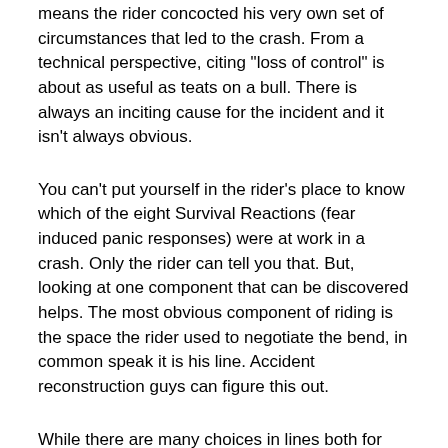means the rider concocted his very own set of circumstances that led to the crash. From a technical perspective, citing "loss of control" is about as useful as teats on a bull. There is always an inciting cause for the incident and it isn't always obvious.
You can't put yourself in the rider's place to know which of the eight Survival Reactions (fear induced panic responses) were at work in a crash. Only the rider can tell you that. But, looking at one component that can be discovered helps. The most obvious component of riding is the space the rider used to negotiate the bend, in common speak it is his line. Accident reconstruction guys can figure this out.
While there are many choices in lines both for safety and for speed but not everyone who rides is adept in the fine art of choosing a line and it is an art. Compared to the street, track riding is more forgiving. A track may be 35 to 45 feet wide whereas your ½ slice of a two lane road could be as little as 8 feet. In that case, an error in line judgment on the road is roughly five times more critical than on a race track.